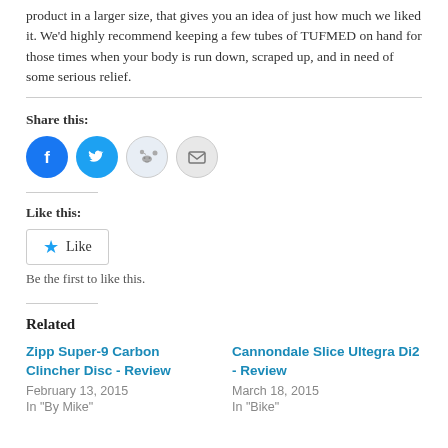product in a larger size, that gives you an idea of just how much we liked it. We'd highly recommend keeping a few tubes of TUFMED on hand for those times when your body is run down, scraped up, and in need of some serious relief.
Share this:
[Figure (other): Social share buttons: Facebook (blue circle), Twitter (blue circle), Reddit (light blue circle), Email (grey circle)]
Like this:
[Figure (other): Like button with star icon]
Be the first to like this.
Related
Zipp Super-9 Carbon Clincher Disc - Review
February 13, 2015
In "By Mike"
Cannondale Slice Ultegra Di2 - Review
March 18, 2015
In "Bike"